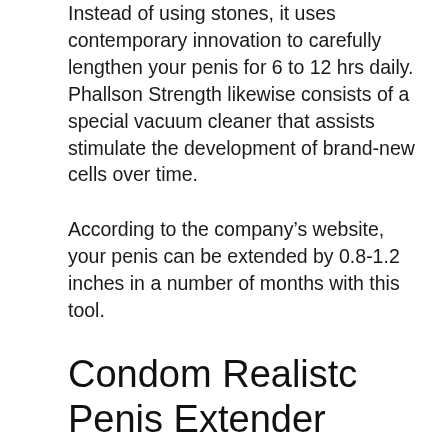Instead of using stones, it uses contemporary innovation to carefully lengthen your penis for 6 to 12 hrs daily. Phallson Strength likewise consists of a special vacuum cleaner that assists stimulate the development of brand-new cells over time.
According to the company’s website, your penis can be extended by 0.8-1.2 inches in a number of months with this tool.
Condom Realistc Penis Extender
Numerous males fret that if they extend their penis it will certainly become .